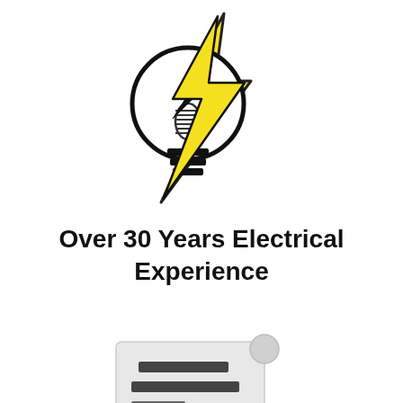[Figure (logo): Electrical logo: a light bulb with a yellow lightning bolt passing through it, black outline style with yellow/gold fill on the lightning bolt]
Over 30 Years Electrical Experience
[Figure (illustration): A scroll/document icon in light gray with dark horizontal bars representing text lines]